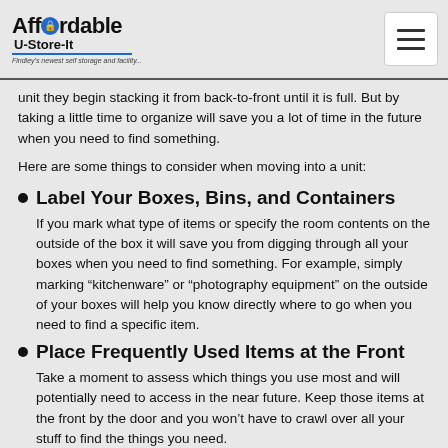Affordable U-Store-It
unit they begin stacking it from back-to-front until it is full. But by taking a little time to organize will save you a lot of time in the future when you need to find something.
Here are some things to consider when moving into a unit:
Label Your Boxes, Bins, and Containers
If you mark what type of items or specify the room contents on the outside of the box it will save you from digging through all your boxes when you need to find something. For example, simply marking “kitchenware” or “photography equipment” on the outside of your boxes will help you know directly where to go when you need to find a specific item.
Place Frequently Used Items at the Front
Take a moment to assess which things you use most and will potentially need to access in the near future. Keep those items at the front by the door and you won’t have to crawl over all your stuff to find the things you need.